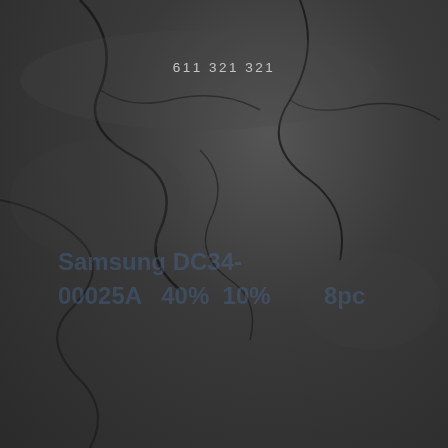611 321 321
Samsung DC34-00025A  40%  10%  8pc
Global Solutions Washer Door Lock Switch Compatible Samsung DC34-00025A
Black Woman Graphic Print Summer Dresses
Sleeveless Plus Size Tunic Dress Casual Loose Tank Dress for Women with Pocket Casual Dress for Women
Black Fuji Karate Uniform
Nuby Back Seat Baby View Mirror
MotorStorex Cap Assy Power steering Oil Cap for Toyota Corolla Crown Levin Tercel